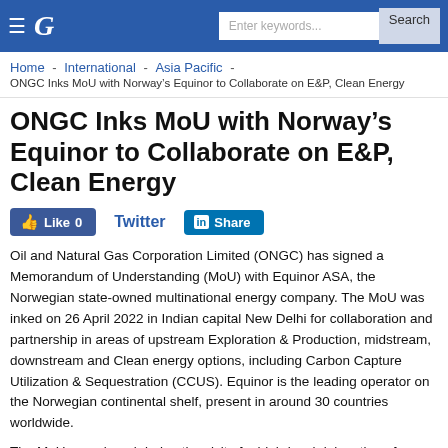G — [Navigation bar with hamburger menu, logo G, search box, Search button]
Home  -  International  -  Asia Pacific  -
ONGC Inks MoU with Norway's Equinor to Collaborate on E&P, Clean Energy
ONGC Inks MoU with Norway's Equinor to Collaborate on E&P, Clean Energy
Like 0   Twitter   Share
Oil and Natural Gas Corporation Limited (ONGC) has signed a Memorandum of Understanding (MoU) with Equinor ASA, the Norwegian state-owned multinational energy company. The MoU was inked on 26 April 2022 in Indian capital New Delhi for collaboration and partnership in areas of upstream Exploration & Production, midstream, downstream and Clean energy options, including Carbon Capture Utilization & Sequestration (CCUS). Equinor is the leading operator on the Norwegian continental shelf, present in around 30 countries worldwide.
The MoU was signed during the visit of a high-level delegation of Norway to India. Union Minister of Petroleum and Natural Gas Hardeep Singh Puri, Norwegian Foreign Minister Anniken